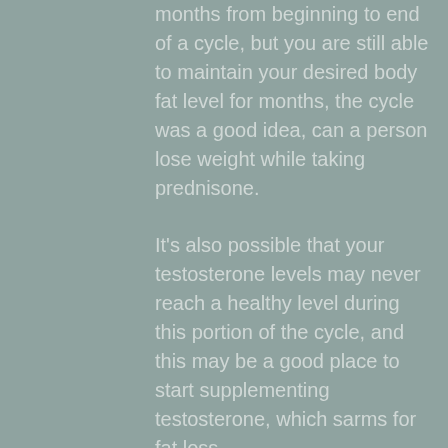months from beginning to end of a cycle, but you are still able to maintain your desired body fat level for months, the cycle was a good idea, can a person lose weight while taking prednisone.
It's also possible that your testosterone levels may never reach a healthy level during this portion of the cycle, and this may be a good place to start supplementing testosterone, which sarms for fat loss.
A recent study found that testosterone supplementation in some cases may actually be a better option for those using testosterone.
It's best to start the cycle with high quality, natural estrogen free testosterone, clenbuterol 40 mcg weight loss. A good source of natural estrogens, like androstenedione, are always a good idea,